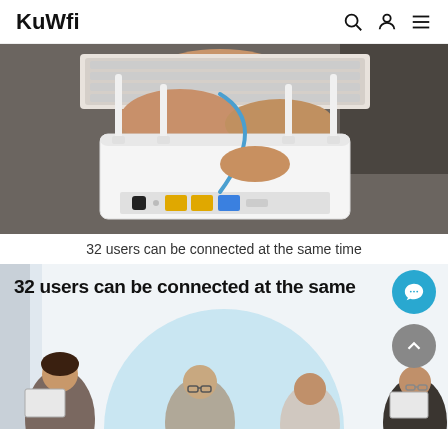KuWfi
[Figure (photo): Close-up photo of a white WiFi router with 4 antennas, showing the back ports (yellow LAN ports and blue WAN port), with a person's hands connecting a blue ethernet cable on a dark desk.]
32 users can be connected at the same time
[Figure (photo): Product promotional image with bold text '32 users can be connected at the same' overlaid on a light blue/teal circle graphic with blurred people in an office/meeting setting in background. A teal chat button and grey scroll-to-top button are visible on the right.]